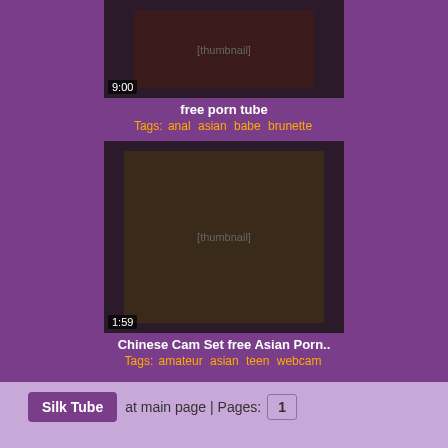[Figure (photo): Video thumbnail with 9:00 duration overlay - adult content video thumbnail]
free porn tube
Tags: anal asian babe brunette
[Figure (photo): Video thumbnail with 1:59 duration overlay - adult content video thumbnail]
Chinese Cam Set free Asian Porn..
Tags: amateur asian teen webcam
Silk Tube at main page | Pages: 1
Horny Sluts